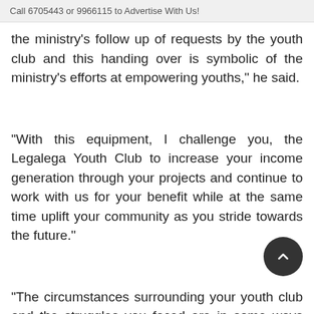Call 6705443 or 9966115 to Advertise With Us!
the ministry’s follow up of requests by the youth club and this handing over is symbolic of the ministry’s efforts at empowering youths,” he said.
“With this equipment, I challenge you, the Legalega Youth Club to increase your income generation through your projects and continue to work with us for your benefit while at the same time uplift your community as you stride towards the future.”
“The circumstances surrounding your youth club and the struggles you faced are in some ways similar to the challenges faced by youth clubs all around the country but in the face of all, you have succeeded in your projects – this is the very reason